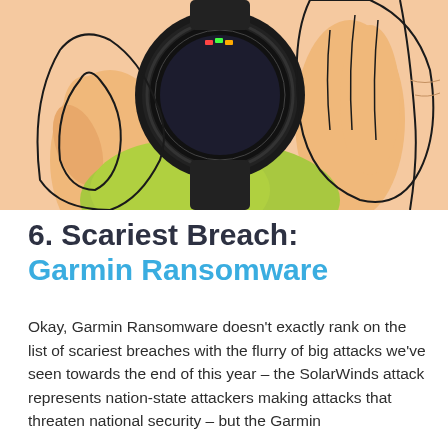[Figure (illustration): Illustration of hands holding a Garmin smartwatch with a black bezel, shown from above against a light green and peach/skin-tone background.]
6. Scariest Breach: Garmin Ransomware
Okay, Garmin Ransomware doesn't exactly rank on the list of scariest breaches with the flurry of big attacks we've seen towards the end of this year – the SolarWinds attack represents nation-state attackers making attacks that threaten national security – but the Garmin